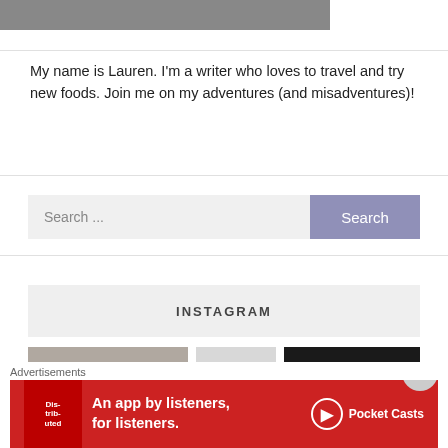[Figure (photo): Cropped photo strip at the top of the page, showing partial image of a person]
My name is Lauren. I'm a writer who loves to travel and try new foods. Join me on my adventures (and misadventures)!
[Figure (screenshot): Search bar with text 'Search ...' and a purple 'Search' button]
INSTAGRAM
[Figure (photo): Three Instagram photo thumbnails: a dog face, a small mid image, and a dark tree/outdoor image]
Advertisements
[Figure (infographic): Pocket Casts advertisement banner on red background: 'An app by listeners, for listeners.' with Pocket Casts logo and a book/phone image]